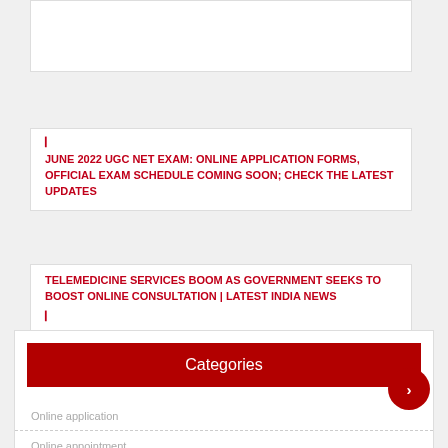[Figure (other): White box at top of page, partially visible]
▐
JUNE 2022 UGC NET EXAM: ONLINE APPLICATION FORMS, OFFICIAL EXAM SCHEDULE COMING SOON; CHECK THE LATEST UPDATES
TELEMEDICINE SERVICES BOOM AS GOVERNMENT SEEKS TO BOOST ONLINE CONSULTATION | LATEST INDIA NEWS
▐
Categories
Online application
Online appointment